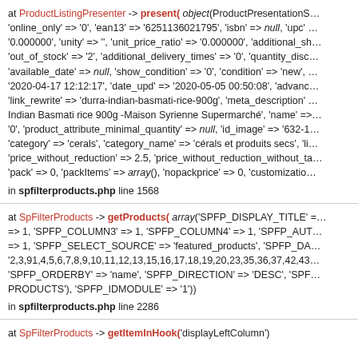at ProductListingPresenter -> present( object(ProductPresentationS... 'online_only' => '0', 'ean13' => '6251136021795', 'isbn' => null, 'upc' ... '0.000000', 'unity' => '', 'unit_price_ratio' => '0.000000', 'additional_sh... 'out_of_stock' => '2', 'additional_delivery_times' => '0', 'quantity_disc... 'available_date' => null, 'show_condition' => '0', 'condition' => 'new', ... '2020-04-17 12:12:17', 'date_upd' => '2020-05-05 00:50:08', 'advanc... 'link_rewrite' => 'durra-indian-basmati-rice-900g', 'meta_description' ... Indian Basmati rice 900g -Maison Syrienne Supermarché', 'name' => ... '0', 'product_attribute_minimal_quantity' => null, 'id_image' => '632-1... 'category' => 'cerals', 'category_name' => 'cérals et produits secs', 'li... 'price_without_reduction' => 2.5, 'price_without_reduction_without_ta... 'pack' => 0, 'packItems' => array(), 'nopackprice' => 0, 'customizatio...
in spfilterproducts.php line 1568
at SpFilterProducts -> getProducts( array('SPFP_DISPLAY_TITLE' ... => 1, 'SPFP_COLUMN3' => 1, 'SPFP_COLUMN4' => 1, 'SPFP_AUT... => 1, 'SPFP_SELECT_SOURCE' => 'featured_products', 'SPFP_DA... '2,3,91,4,5,6,7,8,9,10,11,12,13,15,16,17,18,19,20,23,35,36,37,42,43... 'SPFP_ORDERBY' => 'name', 'SPFP_DIRECTION' => 'DESC', 'SPF... PRODUCTS'), 'SPFP_IDMODULE' => '1'))
in spfilterproducts.php line 2286
at SpFilterProducts -> getItemInHook('displayLeftColumn')